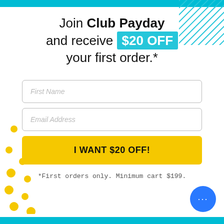Join Club Payday and receive $20 OFF your first order.*
First Name
Email Address
I WANT $20 OFF!
*First orders only. Minimum cart $199.